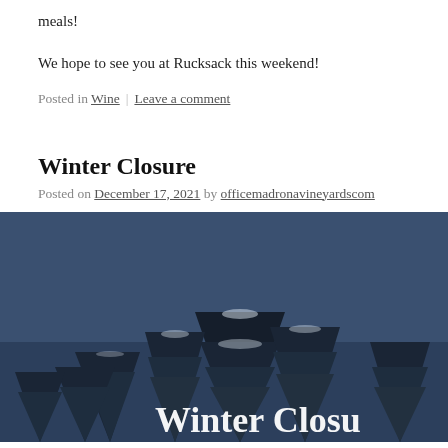meals!
We hope to see you at Rucksack this weekend!
Posted in Wine | Leave a comment
Winter Closure
Posted on December 17, 2021 by officemadronavineyardscom
[Figure (photo): Winter scene with snow-covered evergreen trees against a dark blue sky, with text 'Winter Closu' partially visible at bottom right]